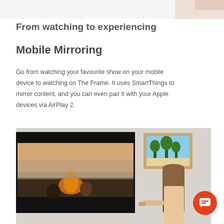[Figure (photo): Top portion of a product lifestyle image, partially cropped at the top of the page, showing a light background with a peach/orange corner visible.]
From watching to experiencing
Mobile Mirroring
Go from watching your favourite show on your mobile device to watching on The Frame. It uses SmartThings to mirror content, and you can even pair it with your Apple devices via AirPlay 2.
[Figure (photo): Photo showing a large Samsung Frame TV mounted on a wall displaying a bonfire beach scene with two people sitting, and a woman with long hair standing to the right touching a smaller framed display on the wall. An orange chat button UI element is overlaid in the bottom right corner.]